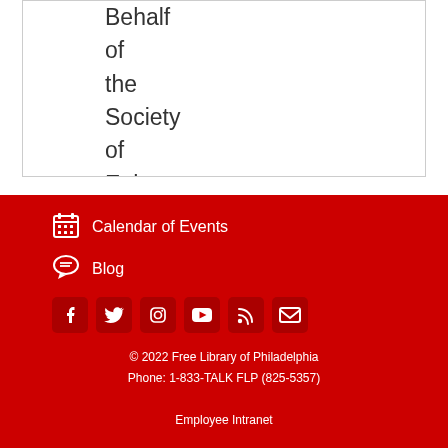Behalf of the Society of Ephrata
Calendar of Events
Blog
[Figure (other): Social media icons: Facebook, Twitter, Instagram, YouTube, RSS, Email]
© 2022 Free Library of Philadelphia Phone: 1-833-TALK FLP (825-5357) Employee Intranet